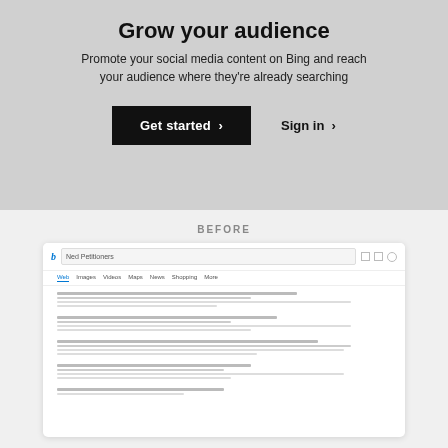Grow your audience
Promote your social media content on Bing and reach your audience where they're already searching
[Figure (screenshot): Two call-to-action buttons: a black 'Get started >' button and a 'Sign in >' link]
BEFORE
[Figure (screenshot): A mockup of a Bing search results page showing the search interface before social media content promotion, with placeholder search results represented by gray lines]